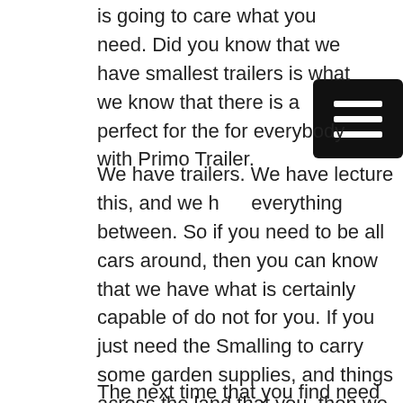is going to care what you need. Did you know that we have smallest trailers is what we know that there is a perfect for the for everybody with Primo Trailer.
We have trailers. We have lecture this, and we have everything between. So if you need to be all cars around, then you can know that we have what is certainly capable of do not for you. If you just need the Smalling to carry some garden supplies, and things across the land that you, then we have a utility trailer that is going to be for you. You'll be able to get up privateer gator worry there golf cart, and you will be able to get anywhere that you need to go on the land as well. We know that you will find some of the things today, because if you want to aluminum satisfaction, then you know that are trailers perfectly.
The next time that you find need in the best Aluminum Trailer, you will be evident of the Primo